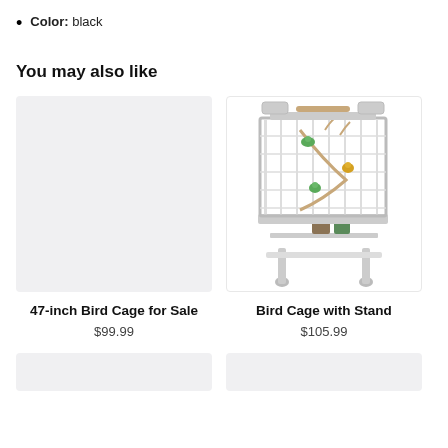Color: black
You may also like
[Figure (photo): Empty light gray product image placeholder for 47-inch Bird Cage for Sale]
47-inch Bird Cage for Sale
$99.99
[Figure (photo): Photo of a white bird cage with stand on wheels, containing colorful birds and perches]
Bird Cage with Stand
$105.99